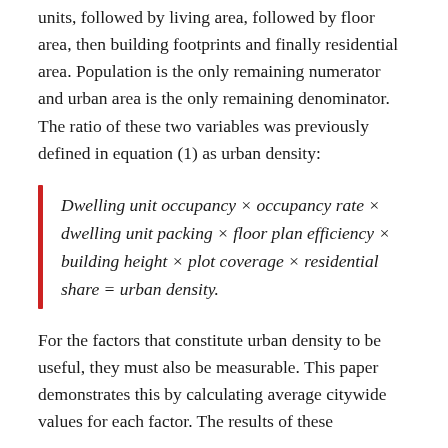units, followed by living area, followed by floor area, then building footprints and finally residential area. Population is the only remaining numerator and urban area is the only remaining denominator. The ratio of these two variables was previously defined in equation (1) as urban density:
For the factors that constitute urban density to be useful, they must also be measurable. This paper demonstrates this by calculating average citywide values for each factor. The results of these